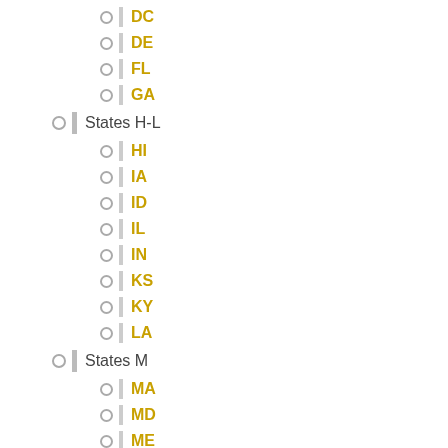DC
DE
FL
GA
States H-L
HI
IA
ID
IL
IN
KS
KY
LA
States M
MA
MD
ME
MI